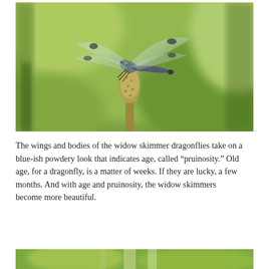[Figure (photo): Close-up photograph of a widow skimmer dragonfly perched on top of a plant spike, with blurred green foliage background.]
The wings and bodies of the widow skimmer dragonflies take on a blue-ish powdery look that indicates age, called “pruinosity.” Old age, for a dragonfly, is a matter of weeks. If they are lucky, a few months. And with age and pruinosity, the widow skimmers become more beautiful.
[Figure (photo): Partial view of another dragonfly photograph with green foliage background, cropped at page bottom.]